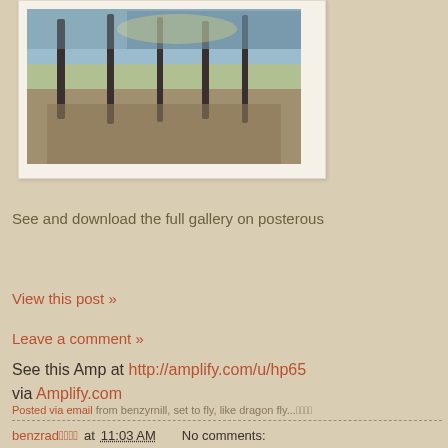[Figure (photo): Winter outdoor scene showing bare trees along a snowy/icy path or plaza, with buildings visible in the background, presented in a white photo frame with drop shadow]
See and download the full gallery on posterous
View this post »
Leave a comment »
See this Amp at http://amplify.com/u/hp65 via Amplify.com
Posted via email from benzyrnill, set to fly, like dragon fly...𤔑𥉉𦉁𦫤
benzrad𤔑𥉉𦉁𦫤 at 11:03 AM   No comments: